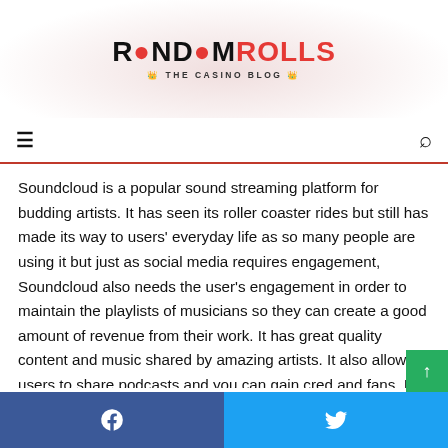RANDOMROLLS THE CASINO BLOG
Soundcloud is a popular sound streaming platform for budding artists. It has seen its roller coaster rides but still has made its way to users' everyday life as so many people are using it but just as social media requires engagement, Soundcloud also needs the user's engagement in order to maintain the playlists of musicians so they can create a good amount of revenue from their work. It has great quality content and music shared by amazing artists. It also allows users to share podcasts and you can gain cred and fans. If you're a musician or an artist you must know about the sites that provide real followers
Facebook Twitter